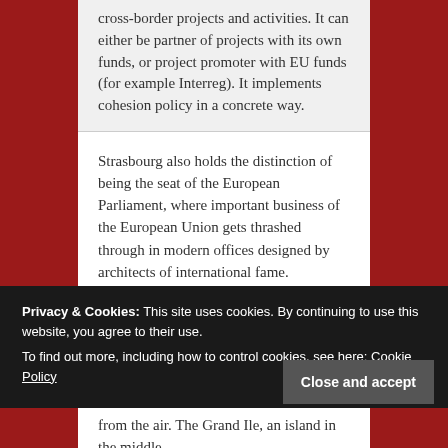cross-border projects and activities. It can either be partner of projects with its own funds, or project promoter with EU funds (for example Interreg). It implements cohesion policy in a concrete way.
Strasbourg also holds the distinction of being the seat of the European Parliament, where important business of the European Union gets thrashed through in modern offices designed by architects of international fame.
Despite its blended identity, the most famous landmark of this more than two-thousand-year
Privacy & Cookies: This site uses cookies. By continuing to use this website, you agree to their use.
To find out more, including how to control cookies, see here: Cookie Policy
from the air. The Grand Ile, an island in the middle